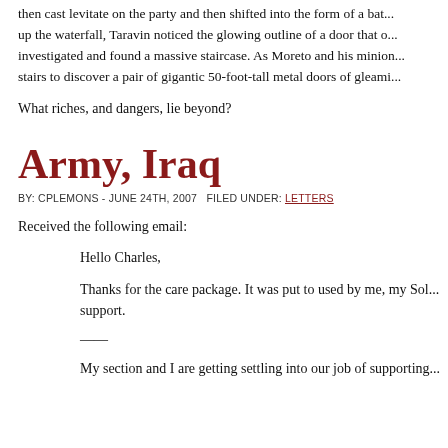then cast levitate on the party and then shifted into the form of a bat... up the waterfall, Taravin noticed the glowing outline of a door that o... investigated and found a massive staircase. As Moreto and his minion... stairs to discover a pair of gigantic 50-foot-tall metal doors of gleami...
What riches, and dangers, lie beyond?
Army, Iraq
BY: CPLEMONS - JUNE 24TH, 2007   FILED UNDER: LETTERS
Received the following email:
Hello Charles,
Thanks for the care package. It was put to used by me, my Sol... support.
——
My section and I are getting settling into our job of supporting...